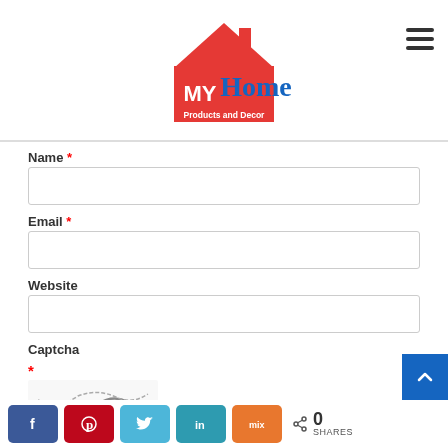[Figure (logo): MyHome Products and Decor logo — red house shape with MY in white on red background, Home in blue text, Products and Decor in white on red banner]
Name *
Email *
Website
Captcha
* (red asterisk for captcha required)
[Figure (other): Captcha image with wavy handwritten-style lines]
[Figure (infographic): Social share bar with Facebook (blue), Pinterest (red), Twitter (light blue), LinkedIn (teal), Mix (orange) buttons, and share count showing 0 SHARES]